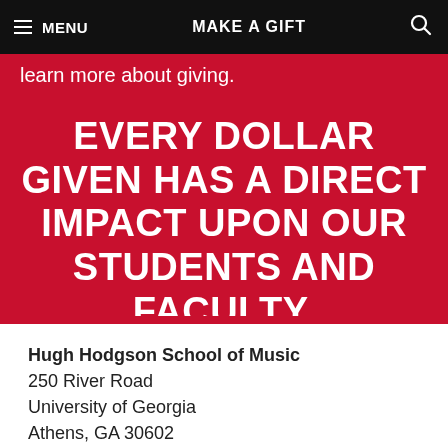MENU   MAKE A GIFT   🔍
learn more about giving.
EVERY DOLLAR GIVEN HAS A DIRECT IMPACT UPON OUR STUDENTS AND FACULTY.
Hugh Hodgson School of Music
250 River Road
University of Georgia
Athens, GA 30602
Privacy Policy